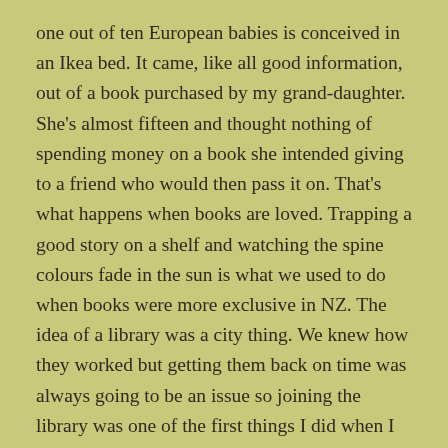one out of ten European babies is conceived in an Ikea bed. It came, like all good information, out of a book purchased by my grand-daughter. She's almost fifteen and thought nothing of spending money on a book she intended giving to a friend who would then pass it on. That's what happens when books are loved. Trapping a good story on a shelf and watching the spine colours fade in the sun is what we used to do when books were more exclusive in NZ. The idea of a library was a city thing. We knew how they worked but getting them back on time was always going to be an issue so joining the library was one of the first things I did when I got a job 'in town'. I can still see the sombre shelves of the Invercargill City Library and remember the sense of amazement I felt at the thought of all those books that could, in theory, be mine.
Libraries are one of the few institutions that have responded and